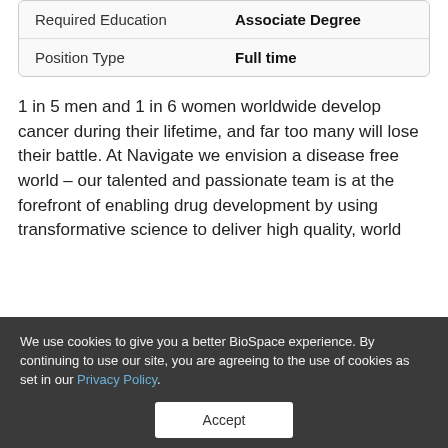| Required Education | Associate Degree |
| Position Type | Full time |
1 in 5 men and 1 in 6 women worldwide develop cancer during their lifetime, and far too many will lose their battle. At Navigate we envision a disease free world – our talented and passionate team is at the forefront of enabling drug development by using transformative science to deliver high quality, world
We use cookies to give you a better BioSpace experience. By continuing to use our site, you are agreeing to the use of cookies as set in our Privacy Policy.